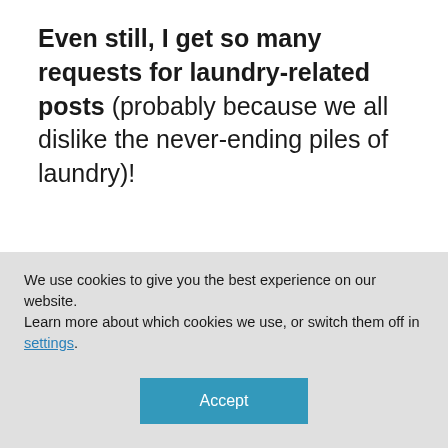Even still, I get so many requests for laundry-related posts (probably because we all dislike the never-ending piles of laundry)!
Normally, I'm NOT one to assign certain
without much extra effort (keep in mind I really enjoy cleaning and organizing)
We use cookies to give you the best experience on our website.
Learn more about which cookies we use, or switch them off in settings.